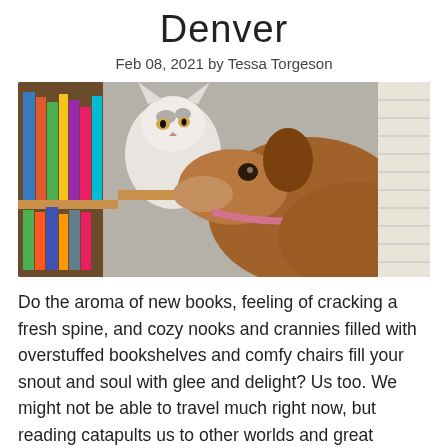Denver
Feb 08, 2021 by Tessa Torgeson
[Figure (photo): A white and grey cat sitting on a bookshelf among colorful books looks at a brown dog that has its snout raised toward the shelf. Bright window blinds visible in background.]
Do the aroma of new books, feeling of cracking a fresh spine, and cozy nooks and crannies filled with overstuffed bookshelves and comfy chairs fill your snout and soul with glee and delight? Us too. We might not be able to travel much right now, but reading catapults us to other worlds and great beyonds. Invite your best fren to join you on the quest for the perfect